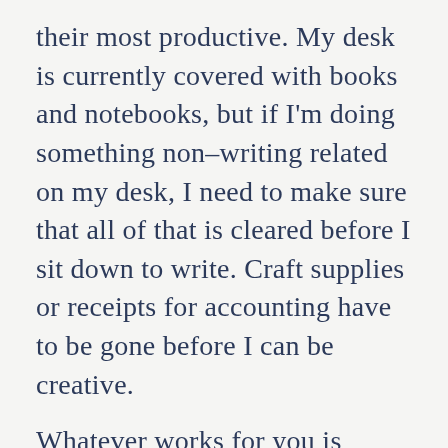their most productive. My desk is currently covered with books and notebooks, but if I'm doing something non–writing related on my desk, I need to make sure that all of that is cleared before I sit down to write. Craft supplies or receipts for accounting have to be gone before I can be creative.

Whatever works for you is valid. Just make sure that your space is ready before you sit down to write. Having the right space is probably the most overlooked of all productivity hacks for creative writers.